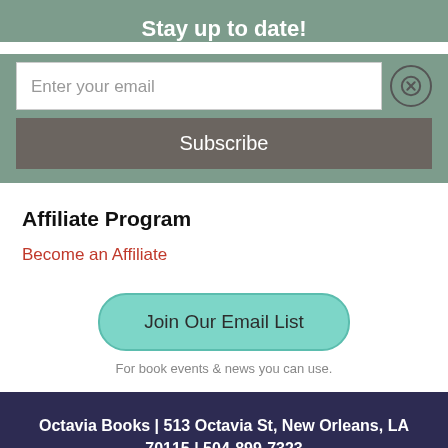Stay up to date!
Enter your email
Subscribe
Affiliate Program
Become an Affiliate
Join Our Email List
For book events & news you can use.
Octavia Books | 513 Octavia St, New Orleans, LA 70115 | 504-899-7323
Copyright © Octavia Books, LLC